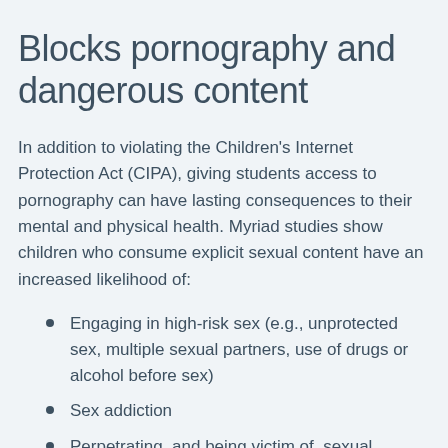Blocks pornography and dangerous content
In addition to violating the Children’s Internet Protection Act (CIPA), giving students access to pornography can have lasting consequences to their mental and physical health. Myriad studies show children who consume explicit sexual content have an increased likelihood of:
Engaging in high-risk sex (e.g., unprotected sex, multiple sexual partners, use of drugs or alcohol before sex)
Sex addiction
Perpetrating, and being victim of, sexual violence